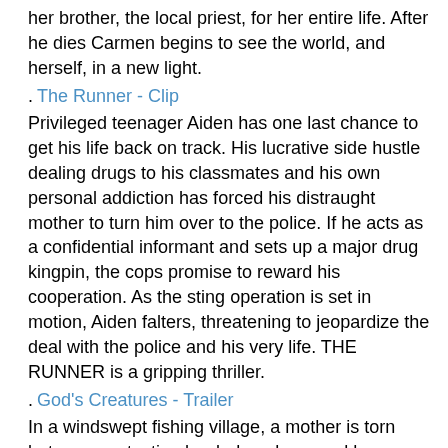her brother, the local priest, for her entire life. After he dies Carmen begins to see the world, and herself, in a new light.
The Runner - Clip
Privileged teenager Aiden has one last chance to get his life back on track. His lucrative side hustle dealing drugs to his classmates and his own personal addiction has forced his distraught mother to turn him over to the police. If he acts as a confidential informant and sets up a major drug kingpin, the cops promise to reward his cooperation. As the sting operation is set in motion, Aiden falters, threatening to jeopardize the deal with the police and his very life. THE RUNNER is a gripping thriller.
God's Creatures - Trailer
In a windswept fishing village, a mother is torn between protecting her beloved son and her own sense of right and wrong. A lie she tells for him rips apart their family and close-knit community in this tense, sweepingly emotional epic.